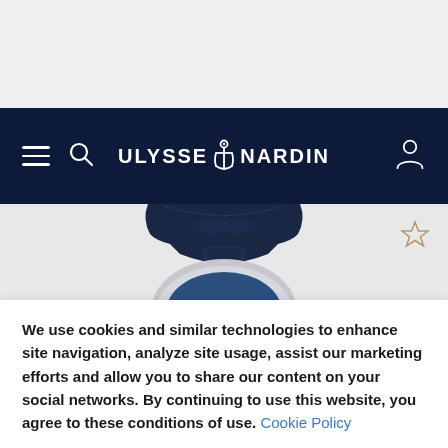[Figure (screenshot): Ulysse Nardin website navigation bar on dark navy background with hamburger menu, search icon, brand logo with anchor, and user account icon]
[Figure (photo): Partial view of a luxury Ulysse Nardin watch with dark navy blue alligator leather strap and silver case, showing the top portion of the watch dial with brand name visible]
We use cookies and similar technologies to enhance site navigation, analyze site usage, assist our marketing efforts and allow you to share our content on your social networks. By continuing to use this website, you agree to these conditions of use. Cookie Policy